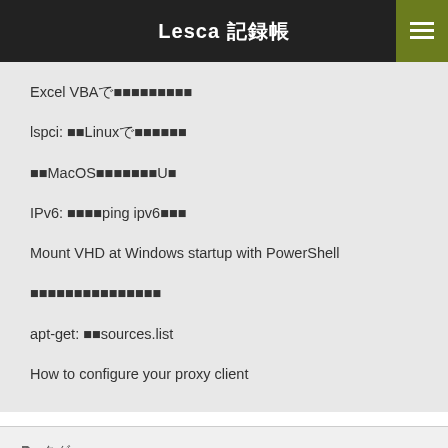Lesca 記録帳
Excel VBAで○○○○○○○○○
lspci: ○○Linuxで○○○○○○
○○MacOS○○○○○○○○○U○
IPv6: ○○○○ping ipv6○○○
Mount VHD at Windows startup with PowerShell
○○○○○○○○○○○○○○○
apt-get: ○○sources.list
How to configure your proxy client
タグ
.htaccess AAD ad Apache apt-get brcm47xx chrome DC